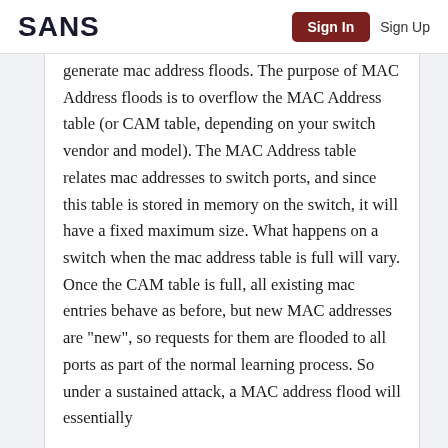SANS | Sign In | Sign Up
generate mac address floods. The purpose of MAC Address floods is to overflow the MAC Address table (or CAM table, depending on your switch vendor and model).  The MAC Address table relates mac addresses to switch ports, and since this table is stored in memory on the switch, it will have a fixed maximum size.  What happens on a switch when the mac address table is full will vary.  Once the CAM table is full, all existing mac entries behave as before, but new MAC addresses are "new", so requests for them are flooded to all ports as part of the normal learning process.  So under a sustained attack, a MAC address flood will essentially